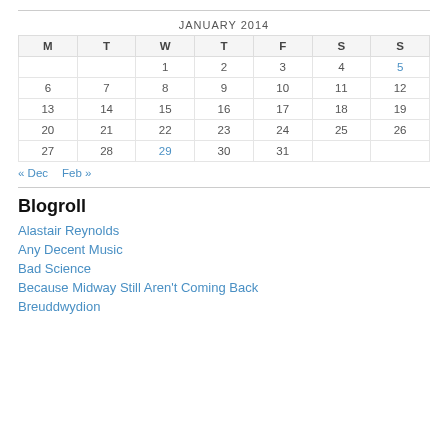| M | T | W | T | F | S | S |
| --- | --- | --- | --- | --- | --- | --- |
|  |  | 1 | 2 | 3 | 4 | 5 |
| 6 | 7 | 8 | 9 | 10 | 11 | 12 |
| 13 | 14 | 15 | 16 | 17 | 18 | 19 |
| 20 | 21 | 22 | 23 | 24 | 25 | 26 |
| 27 | 28 | 29 | 30 | 31 |  |  |
« Dec   Feb »
Blogroll
Alastair Reynolds
Any Decent Music
Bad Science
Because Midway Still Aren't Coming Back
Breuddwydion